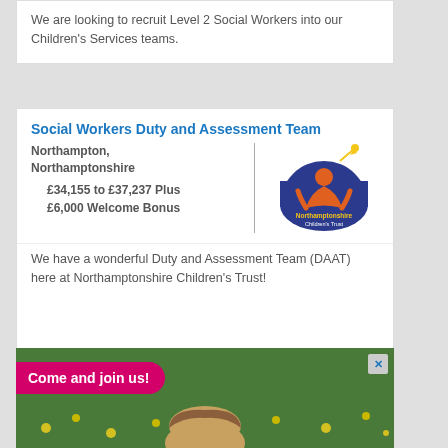We are looking to recruit Level 2 Social Workers into our Children's Services teams.
Social Workers Duty and Assessment Team
Northampton, Northamptonshire   £34,155 to £37,237 Plus £6,000 Welcome Bonus
[Figure (logo): Northamptonshire Children's Trust logo: blue arch with orange child figure and shooting star, yellow text below]
We have a wonderful Duty and Assessment Team (DAAT) here at Northamptonshire Children's Trust!
[Figure (photo): Advertisement banner: pink label 'Come and join us!' over photo of child lying in grass with yellow flowers]